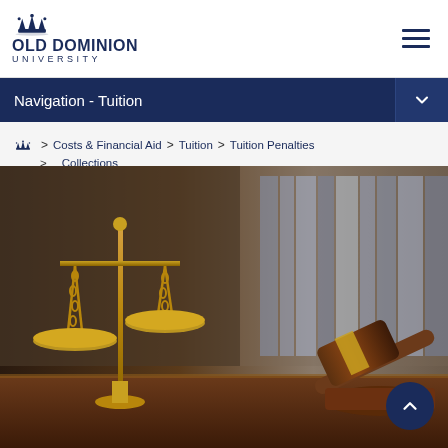[Figure (logo): Old Dominion University logo with crown icon and text]
Navigation - Tuition
Home > Costs & Financial Aid > Tuition > Tuition Penalties > Collections
[Figure (photo): Photo of scales of justice and a judge's gavel on a wooden desk with bookshelves in background]